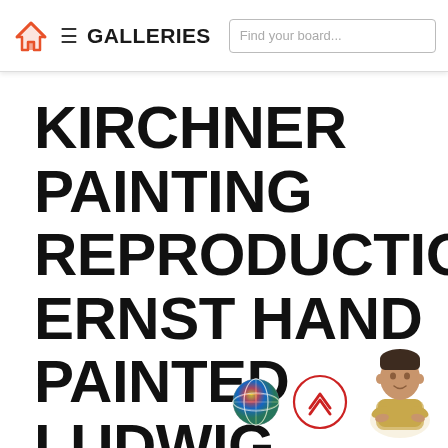GALLERIES | Find your board...
KIRCHNER PAINTING REPRODUCTION ERNST HAND PAINTED LUDWIG ESTACION DE KOENIGSTEIN
[Figure (illustration): Globe/language selector icon with colorful flags]
[Figure (illustration): Circular red-outlined up-arrow button]
[Figure (illustration): Person avatar - illustrated man with arms crossed in yellow shirt]